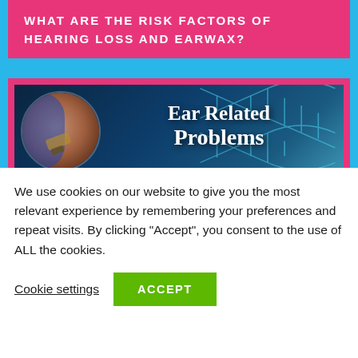WHAT ARE THE RISK FACTORS OF HEARING LOSS AND EARWAX?
[Figure (illustration): Medical illustration showing a doctor examining a patient's ear with an otoscope, overlaid with DNA helix graphics on a dark blue background. Text reads 'Ear Related Problems'.]
We use cookies on our website to give you the most relevant experience by remembering your preferences and repeat visits. By clicking "Accept", you consent to the use of ALL the cookies.
Cookie settings   ACCEPT